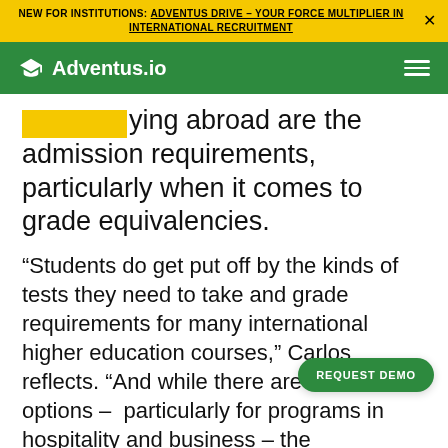NEW FOR INSTITUTIONS: ADVENTUS DRIVE – YOUR FORCE MULTIPLIER IN INTERNATIONAL RECRUITMENT
[Figure (logo): Adventus.io logo with graduation cap icon on green navigation bar]
[highlighted]ying abroad are the admission requirements, particularly when it comes to grade equivalencies.
“Students do get put off by the kinds of tests they need to take and grade requirements for many international higher education courses,” Carlos reflects. “And while there are a lot of options – particularly for programs in hospitality and business – the admission requirements are a big obstacle for students, especially if their English isn’t up